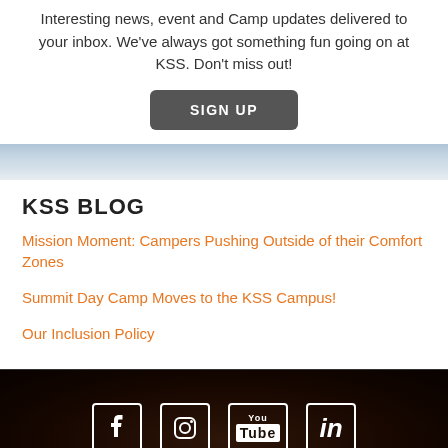Interesting news, event and Camp updates delivered to your inbox. We've always got something fun going on at KSS. Don't miss out!
SIGN UP
[Figure (photo): Sky photo banner with light blue and grey clouds]
KSS BLOG
Mission Moment: Campers Pushing Outside of their Comfort Zones
Summit Day Camp Moves to the KSS Campus!
Our Inclusion Policy
[Figure (other): Dark brown textured footer with social media icons: Facebook, Instagram, YouTube, LinkedIn]